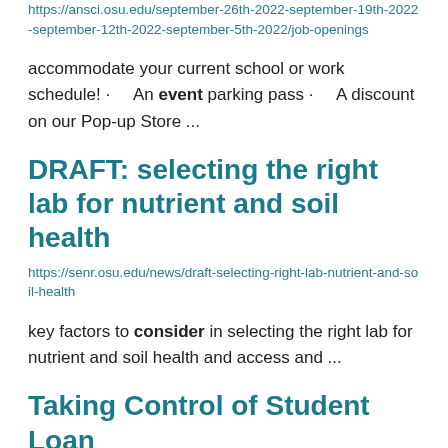https://ansci.osu.edu/september-26th-2022-september-19th-2022-september-12th-2022-september-5th-2022/job-openings
accommodate your current school or work schedule! · An event parking pass · A discount on our Pop-up Store ...
DRAFT: selecting the right lab for nutrient and soil health
https://senr.osu.edu/news/draft-selecting-right-lab-nutrient-and-soil-health
key factors to consider in selecting the right lab for nutrient and soil health and access and ...
Taking Control of Student Loan